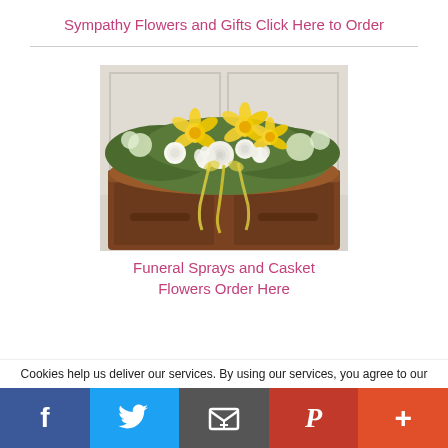Sympathy Flowers and Gifts Click Here to Order
[Figure (photo): Casket spray arrangement with yellow lilies, white roses, white carnations, and greenery with yellow ribbons draped over a wooden casket]
Funeral Sprays and Casket Flowers Order Here
Cookies help us deliver our services. By using our services, you agree to our
[Figure (infographic): Social sharing bar with Facebook, Twitter, Email, Pinterest, and More (+) buttons]